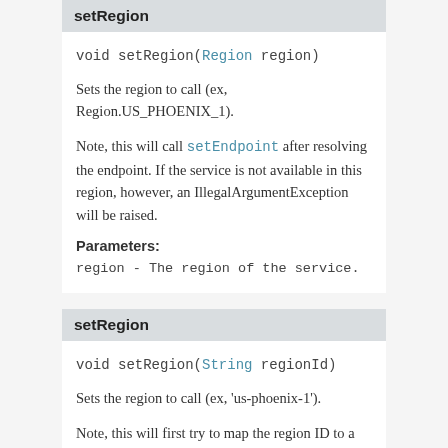setRegion
void setRegion(Region region)
Sets the region to call (ex, Region.US_PHOENIX_1).
Note, this will call setEndpoint after resolving the endpoint. If the service is not available in this region, however, an IllegalArgumentException will be raised.
Parameters:
region - The region of the service.
setRegion
void setRegion(String regionId)
Sets the region to call (ex, 'us-phoenix-1').
Note, this will first try to map the region ID to a known Region and call setRegion.